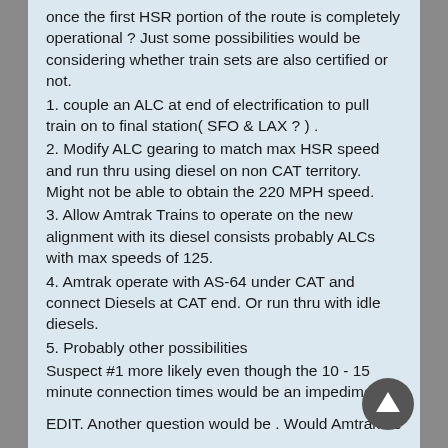once the first HSR portion of the route is completely operational ? Just some possibilities would be considering whether train sets are also certified or not.
1. couple an ALC at end of electrification to pull train on to final station( SFO & LAX ? ) .
2. Modify ALC gearing to match max HSR speed and run thru using diesel on non CAT territory. Might not be able to obtain the 220 MPH speed.
3. Allow Amtrak Trains to operate on the new alignment with its diesel consists probably ALCs with max speeds of 125.
4. Amtrak operate with AS-64 under CAT and connect Diesels at CAT end. Or run thru with idle diesels.
5. Probably other possibilities
Suspect #1 more likely even though the 10 - 15 minute connection times would be an impediment.
EDIT. Another question would be . Would Amtrak be